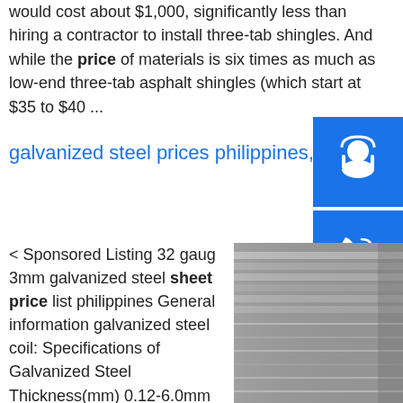would cost about $1,000, significantly less than hiring a contractor to install three-tab shingles. And while the price of materials is six times as much as low-end three-tab asphalt shingles (which start at $35 to $40 ...
galvanized steel prices philippines, galvanized steel ...
[Figure (photo): Customer support icon (headset silhouette) on blue background]
[Figure (photo): Phone/call icon on blue background]
[Figure (photo): Skype icon on blue background]
< Sponsored Listing 32 gaug 3mm galvanized steel sheet price list philippines General information galvanized steel coil: Specifications of Galvanized Steel Thickness(mm) 0.12-6.0mm Width(mm) 600-2050mm Coating Weighr(g/m2) 30-600g/m2 Inner Diameter(mm) 508/610mm Surface Structure Regular spangle, Minimal Spangle, Zero Spangle, Big Spangle) Surface Treatment Chromated/Non …sp.info Metal Roofing Sheets | Steel Roofing Sheets | Roofing...These are available in either 0.5mm or 0.7...
[Figure (photo): Stack of galvanized steel sheets/plates, metallic gray color, stacked in layers]